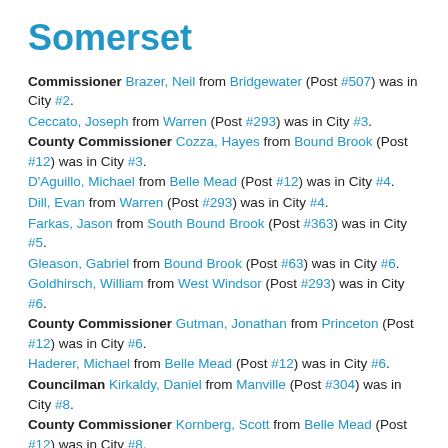Somerset
Commissioner Brazer, Neil from Bridgewater (Post #507) was in City #2.
Ceccato, Joseph from Warren (Post #293) was in City #3.
County Commissioner Cozza, Hayes from Bound Brook (Post #12) was in City #3.
D'Aguillo, Michael from Belle Mead (Post #12) was in City #4.
Dill, Evan from Warren (Post #293) was in City #4.
Farkas, Jason from South Bound Brook (Post #363) was in City #5.
Gleason, Gabriel from Bound Brook (Post #63) was in City #6.
Goldhirsch, William from West Windsor (Post #293) was in City #6.
County Commissioner Gutman, Jonathan from Princeton (Post #12) was in City #6.
Haderer, Michael from Belle Mead (Post #12) was in City #6.
Councilman Kirkaldy, Daniel from Manville (Post #304) was in City #8.
County Commissioner Kornberg, Scott from Belle Mead (Post #12) was in City #8.
McPherson, Peter from Milford (Post #293) was in City #2.
Norcia, Alex from Martinsville (Post #507) was in City #11.
City Administrator Pasi, Christopher from Warren (Post #293) was